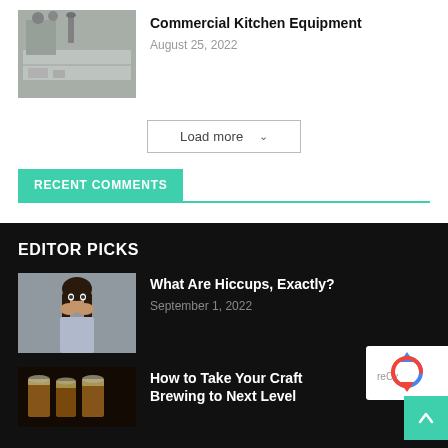[Figure (photo): Commercial kitchen equipment - stainless steel surfaces and appliances]
Commercial Kitchen Equipment
August 25, 2022
Load more ▾
RECENT COMMENTS
EDITOR PICKS
[Figure (photo): Woman with surprised expression covering her mouth with her hands]
What Are Hiccups, Exactly?
September 1, 2022
[Figure (photo): Craft beer glasses with amber liquid]
How to Take Your Craft Brewing to Next Level